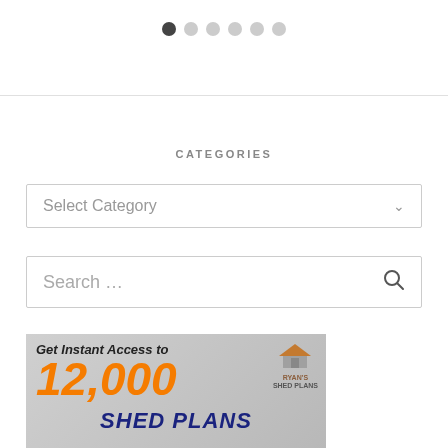[Figure (other): Carousel pagination dots: one filled dark dot followed by five lighter gray dots]
CATEGORIES
[Figure (other): Select Category dropdown widget with chevron arrow on the right]
[Figure (other): Search box with placeholder text 'Search ...' and a magnifying glass icon on the right]
[Figure (other): Advertisement banner for Ryan's Shed Plans reading 'Get Instant Access to 12,000 SHED PLANS' with Ryan's Shed Plans logo]
Get Instant Access to 12,000 SHED PLANS